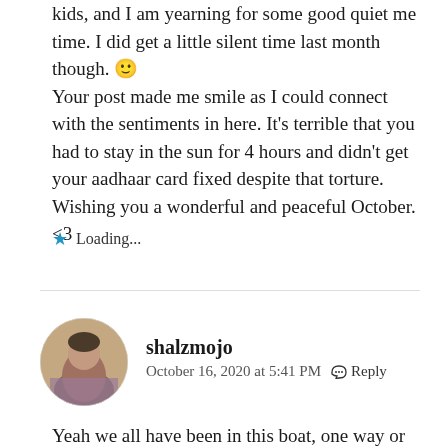kids, and I am yearning for some good quiet me time. I did get a little silent time last month though. 🙂
Your post made me smile as I could connect with the sentiments in here. It's terrible that you had to stay in the sun for 4 hours and didn't get your aadhaar card fixed despite that torture.
Wishing you a wonderful and peaceful October. <3
Loading...
[Figure (photo): Circular avatar photo of shalzmojo commenter]
shalzmojo
October 16, 2020 at 5:41 PM   Reply
Yeah we all have been in this boat, one way or